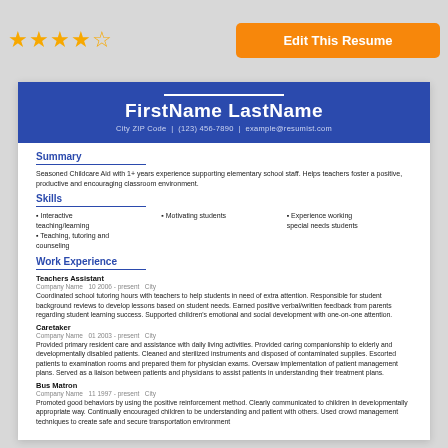[Figure (other): 4.5 star rating shown with orange stars]
Edit This Resume
FirstName LastName
City ZIP Code | (123) 456-7890 | example@resumist.com
Summary
Seasoned Childcare Aid with 1+ years experience supporting elementary school staff. Helps teachers foster a positive, productive and encouraging classroom environment.
Skills
Interactive teaching/learning
Teaching, tutoring and counseling
Motivating students
Experience working special needs students
Work Experience
Teachers Assistant
Company Name  10 2006 - present  City
Coordinated school tutoring hours with teachers to help students in need of extra attention. Responsible for student background reviews to develop lessons based on student needs. Earned positive verbal/written feedback from parents regarding student learning success. Supported children's emotional and social development with one-on-one attention.
Caretaker
Company Name  01 2003 - present  City
Provided primary resident care and assistance with daily living activities. Provided caring companionship to elderly and developmentally disabled patients. Cleaned and sterilized instruments and disposed of contaminated supplies. Escorted patients to examination rooms and prepared them for physician exams. Oversaw implementation of patient management plans. Served as a liaison between patients and physicians to assist patients in understanding their treatment plans.
Bus Matron
Company Name  11 1997 - present  City
Promoted good behaviors by using the positive reinforcement method. Clearly communicated to children in developmentally appropriate way. Continually encouraged children to be understanding and patient with others. Used crowd management techniques to create safe and secure transportation environment